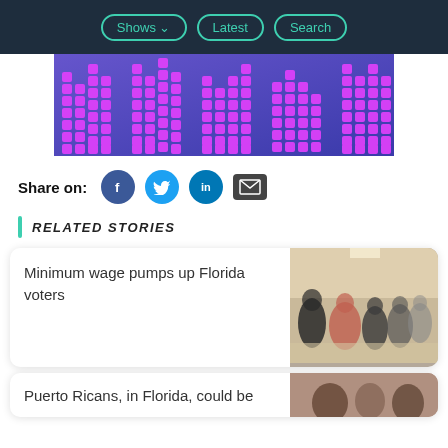Shows | Latest | Search
[Figure (illustration): Purple/blue background with pink/magenta pixelated bar chart equalizer pattern]
Share on:
[Figure (infographic): Social share icons: Facebook, Twitter, LinkedIn, Email]
RELATED STORIES
Minimum wage pumps up Florida voters
[Figure (photo): People sitting at tables in a room, seen from behind]
Puerto Ricans, in Florida, could be